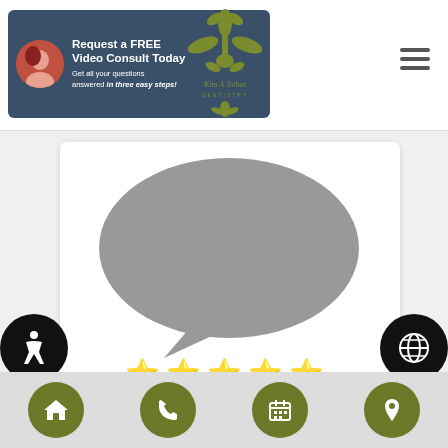[Figure (screenshot): Dental practice website screenshot showing header with promo box, logo, hamburger menu, review card with speech bubble icon, 5 stars, and review text plus bottom navigation]
Request a FREE Video Consult Today Get all your questions answered in three easy steps!
[Figure (logo): Kim A Talbot Dentistry fleur-de-lis logo]
[Figure (illustration): Grey speech bubble / comment icon]
★★★★★
"Dr. Talbot, along with her staff (including Lynn at front desk and her dental assistant